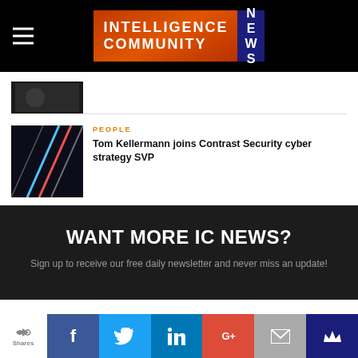Intelligence Community News
[Figure (photo): Partial dark thumbnail image at top, partially cropped]
PEOPLE
Tom Kellermann joins Contrast Security cyber strategy SVP
WANT MORE IC NEWS?
Sign up to receive our free daily newsletter and never miss an update!
Shares | f | Twitter | in | G+ | mail | crown icon